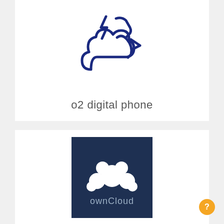[Figure (logo): o2 digital phone icon: dark blue line-art cloud with a phone handset and lightning/arrow shapes above it on white background]
o2 digital phone
[Figure (logo): ownCloud logo on dark navy blue square background: white bubble/cloud shape made of circles above the text 'ownCloud' in light gray]
ownCloud